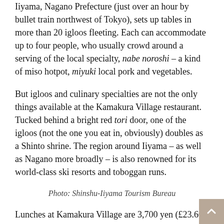Iiyama, Nagano Prefecture (just over an hour by bullet train northwest of Tokyo), sets up tables in more than 20 igloos fleeting. Each can accommodate up to four people, who usually crowd around a serving of the local specialty, nabe noroshi – a kind of miso hotpot, miyuki local pork and vegetables.
But igloos and culinary specialties are not the only things available at the Kamakura Village restaurant. Tucked behind a bright red tori door, one of the igloos (not the one you eat in, obviously) doubles as a Shinto shrine. The region around Iiyama – as well as Nagano more broadly – is also renowned for its world-class ski resorts and toboggan runs.
Photo: Shinshu-Iiyama Tourism Bureau
Lunches at Kamakura Village are 3,700 yen (£23.60, $32) per person and dinners are 4,200 yen (£26.80, $36.40), covering a private igloo, cooking pot and rice balls. The restaurant is open until February 27, when we imagine these igloos are starting to get a little... dripping.